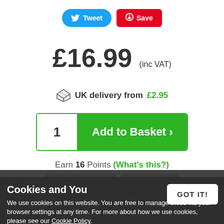[Figure (screenshot): Tweet and Save social share buttons at the top of a product page]
£16.99 (inc VAT)
UK delivery from £2.95
[Figure (other): Add to Basket button with quantity selector showing 1]
Earn 16 Points (What's this?)
Cookies and You
We use cookies on this website. You are free to manage these via your browser settings at any time. For more about how we use cookies, please see our Cookie Policy.
GOT IT!
Product Detail